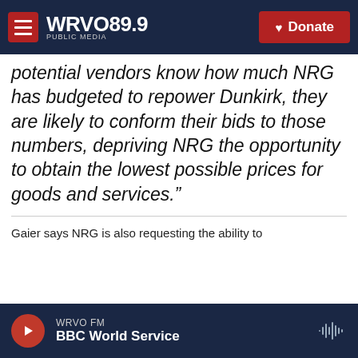WRVO PUBLIC MEDIA 89.9 | Donate
potential vendors know how much NRG has budgeted to repower Dunkirk, they are likely to conform their bids to those numbers, depriving NRG the opportunity to obtain the lowest possible prices for goods and services.”
Gaier says NRG is also requesting the ability to
WRVO FM | BBC World Service